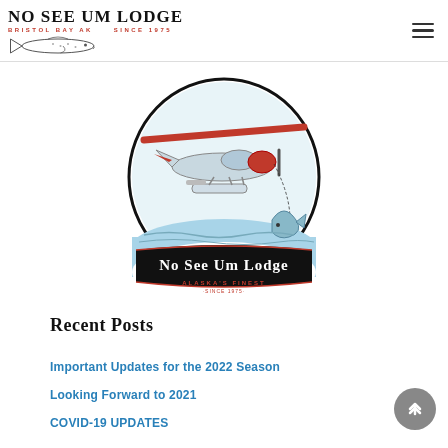No See Um Lodge — Bristol Bay AK Since 1975
[Figure (logo): No See Um Lodge circular logo featuring a red and white floatplane with a fish jumping out of water. Black banner at bottom reads 'No See Um Lodge' with 'Alaska's Finest · Since 1975' underneath in red text.]
Recent Posts
Important Updates for the 2022 Season
Looking Forward to 2021
COVID-19 UPDATES